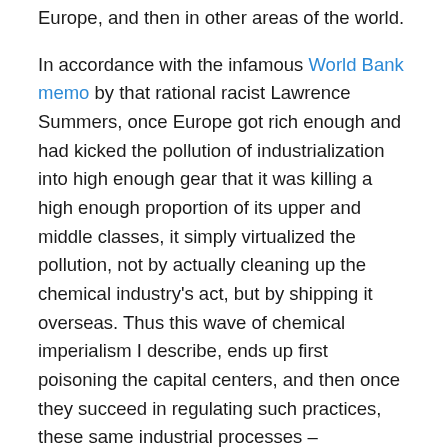Europe, and then in other areas of the world.
In accordance with the infamous World Bank memo by that rational racist Lawrence Summers, once Europe got rich enough and had kicked the pollution of industrialization into high enough gear that it was killing a high enough proportion of its upper and middle classes, it simply virtualized the pollution, not by actually cleaning up the chemical industry's act, but by shipping it overseas. Thus this wave of chemical imperialism I describe, ends up first poisoning the capital centers, and then once they succeed in regulating such practices, these same industrial processes – unchanged – move overseas. The failure to learn any lessons from the human health harms, the inability to flinch and reflect, before outsourcing our pollution elsewhere, is part of chemical colonialism.